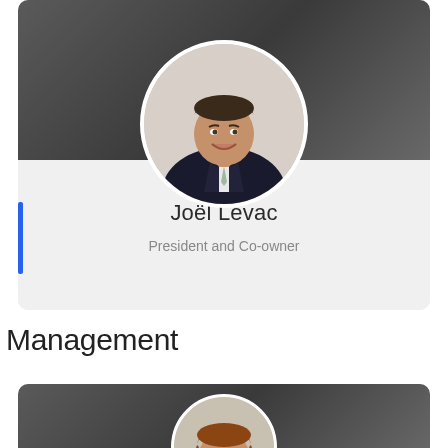[Figure (photo): Profile photo of Joël Levac in a circular frame, man in dark suit with light tie, smiling, set against a dark gray banner background on a light gray card]
Joël Levac
President and Co-owner
Management
[Figure (photo): Partial profile photo of a second person, showing top of head with light brown/reddish hair, circular frame, on a dark gray banner background, card partially visible at bottom of page]